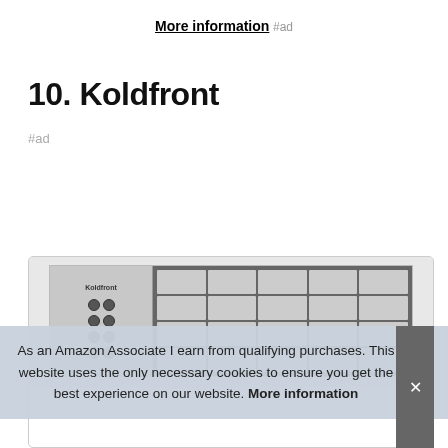More information #ad
10. Koldfront
#ad
[Figure (photo): Koldfront window air conditioner unit showing control panel on the left and ventilation grille on the right]
As an Amazon Associate I earn from qualifying purchases. This website uses the only necessary cookies to ensure you get the best experience on our website. More information